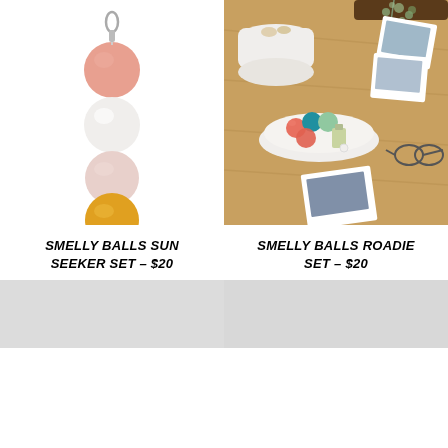[Figure (photo): Felt ball keychain with salmon, white, light pink, and yellow/mustard balls on a silver keyring, white background]
[Figure (photo): Smelly Balls Roadie Set displayed on a wooden table with polaroid photos, a white ceramic bowl, and a white dish holding colorful felt balls and a small perfume bottle]
SMELLY BALLS SUN SEEKER SET – $20
SMELLY BALLS ROADIE SET – $20
[Figure (photo): Partially visible product image, light gray placeholder]
[Figure (photo): Partially visible product image, light gray placeholder]